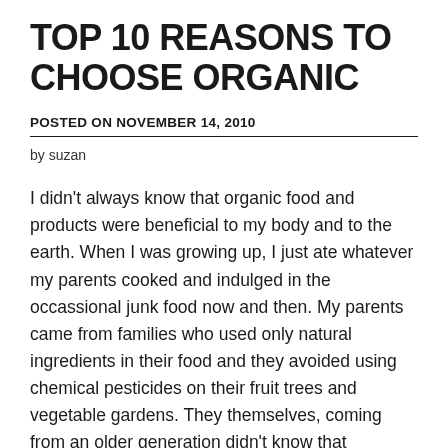TOP 10 REASONS TO CHOOSE ORGANIC
POSTED ON NOVEMBER 14, 2010
by suzan
I didn't always know that organic food and products were beneficial to my body and to the earth. When I was growing up, I just ate whatever my parents cooked and indulged in the occassional junk food now and then. My parents came from families who used only natural ingredients in their food and they avoided using chemical pesticides on their fruit trees and vegetable gardens. They themselves, coming from an older generation didn't know that they really actually and are some food products